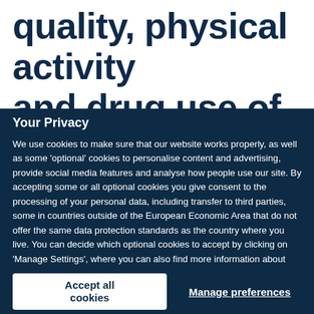quality, physical activity and drug use of
Your Privacy
We use cookies to make sure that our website works properly, as well as some 'optional' cookies to personalise content and advertising, provide social media features and analyse how people use our site. By accepting some or all optional cookies you give consent to the processing of your personal data, including transfer to third parties, some in countries outside of the European Economic Area that do not offer the same data protection standards as the country where you live. You can decide which optional cookies to accept by clicking on 'Manage Settings', where you can also find more information about how your personal data is processed. Further information can be found in our privacy policy.
Accept all cookies
Manage preferences